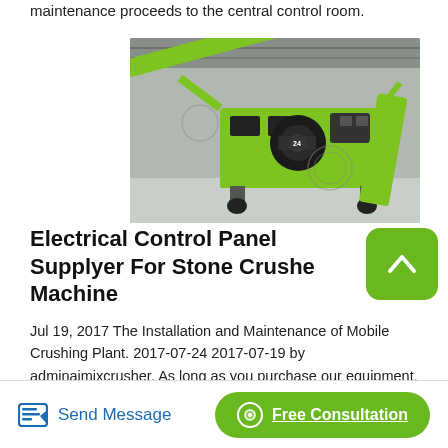maintenance proceeds to the central control room.
[Figure (photo): A large green and black mobile crushing machine/plant photographed inside an industrial warehouse facility.]
Electrical Control Panel Supplyer For Stone Crusher Machine
Jul 19, 2017 The Installation and Maintenance of Mobile Crushing Plant. 2017-07-24 2017-07-19 by adminaimixcrusher. As long as you purchase our equipment, we will send special technicians to help you to install the machine and give you online guide. But in fact, the installation and maintenance of these machines are not difficult, and today I'll give you.
Send Message   Free Consultation